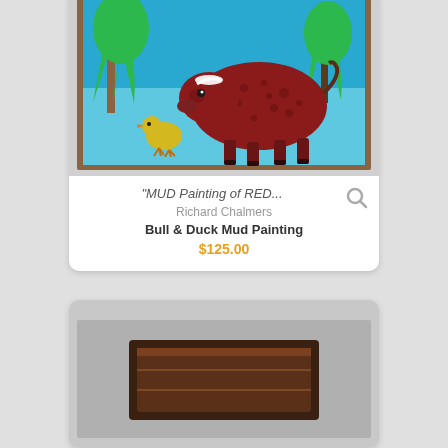[Figure (photo): Folk art painting of a large red/brown bull with white horns facing left, a small yellow duck beside it, green willow trees in background, blue sky, framed in brown wood. Painting shown inside a product card.]
"MUD Painting of RED...
Richard Chalmers
Bull & Duck Mud Painting
$125.00
[Figure (photo): Second product card partially visible at bottom, showing a dark-colored decorative item on a light background.]